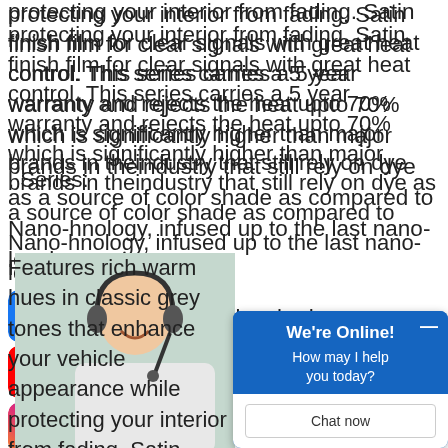protecting your interior from fading. Satin finish film for clear signals with great heat control. This series carries a 5 year warranty and rejects the heat upto 70% which is significantly higher than major brands in theindustry that still rely on dye as a source of color shade as compared to Nano-hnology, infused up to the last nano-lecule.
[Figure (logo): Facebook logo icon (blue rounded square with white f)]
[Figure (logo): YouTube logo icon (red rounded rectangle with white play button)]
[Figure (logo): Instagram logo icon (gradient rounded square with camera icon)]
. Series:
Features rich warm hues in classic grey tones that enhance your vehicle appearance while protecting your interior from fading. Satin finish film for clear signals with great heat control. This series carries a 5 year warranty and rejects the heat upto 70% which is significantly higher than major brands in theindustry that still rely on dye as a source of color shade as compared to Nano-
[Figure (photo): Customer service woman wearing a headset, smiling]
We're Online! How may I help you today? Chat now